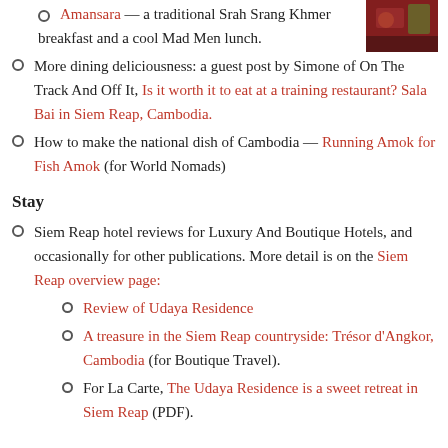Amansara — a traditional Srah Srang Khmer breakfast and a cool Mad Men lunch.
[Figure (photo): Small photo thumbnail, reddish/brown tones, appears to show a meal or food setting]
More dining deliciousness: a guest post by Simone of On The Track And Off It, Is it worth it to eat at a training restaurant? Sala Bai in Siem Reap, Cambodia.
How to make the national dish of Cambodia — Running Amok for Fish Amok (for World Nomads)
Stay
Siem Reap hotel reviews for Luxury And Boutique Hotels, and occasionally for other publications. More detail is on the Siem Reap overview page:
Review of Udaya Residence
A treasure in the Siem Reap countryside: Trésor d'Angkor, Cambodia (for Boutique Travel).
For La Carte, The Udaya Residence is a sweet retreat in Siem Reap (PDF).